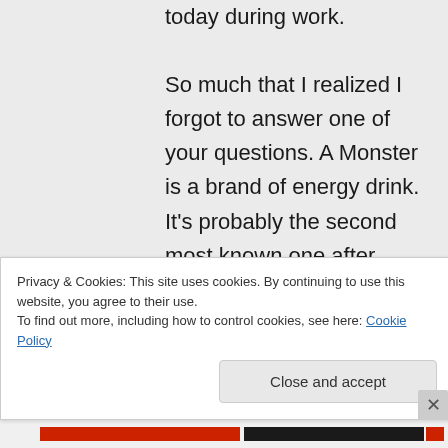today during work. So much that I realized I forgot to answer one of your questions. A Monster is a brand of energy drink. It's probably the second most known one after Red Bull, it's so popular here that I didn't
Privacy & Cookies: This site uses cookies. By continuing to use this website, you agree to their use.
To find out more, including how to control cookies, see here: Cookie Policy
Close and accept